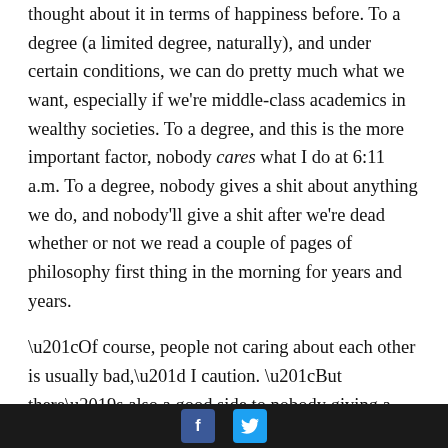thought about it in terms of happiness before. To a degree (a limited degree, naturally), and under certain conditions, we can do pretty much what we want, especially if we're middle-class academics in wealthy societies. To a degree, and this is the more important factor, nobody cares what I do at 6:11 a.m. To a degree, nobody gives a shit about anything we do, and nobody'll give a shit after we're dead whether or not we read a couple of pages of philosophy first thing in the morning for years and years.

“Of course, people not caring about each other is usually bad,” I caution. “But there’s also a good side to nobody giving a shit. The only one who has to care, at least about certain things I do, is me.” The sense of exhilarating freedom and terrifying loneliness contained in the recognition that nobody gives a shit is
Facebook Twitter